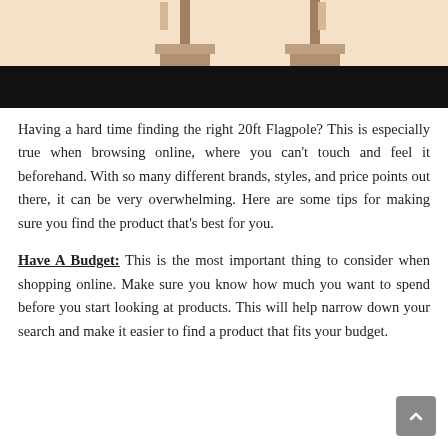[Figure (illustration): Illustration of flagpoles against a peach/cream background with a black bar at the bottom of the image area.]
Having a hard time finding the right 20ft Flagpole? This is especially true when browsing online, where you can't touch and feel it beforehand. With so many different brands, styles, and price points out there, it can be very overwhelming. Here are some tips for making sure you find the product that's best for you.
Have A Budget: This is the most important thing to consider when shopping online. Make sure you know how much you want to spend before you start looking at products. This will help narrow down your search and make it easier to find a product that fits your budget.